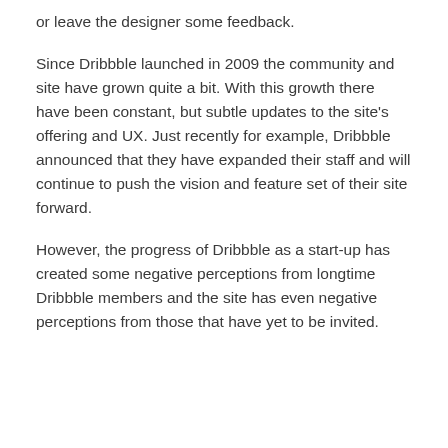or leave the designer some feedback.
Since Dribbble launched in 2009 the community and site have grown quite a bit. With this growth there have been constant, but subtle updates to the site's offering and UX. Just recently for example, Dribbble announced that they have expanded their staff and will continue to push the vision and feature set of their site forward.
However, the progress of Dribbble as a start-up has created some negative perceptions from longtime Dribbble members and the site has even negative perceptions from those that have yet to be invited.